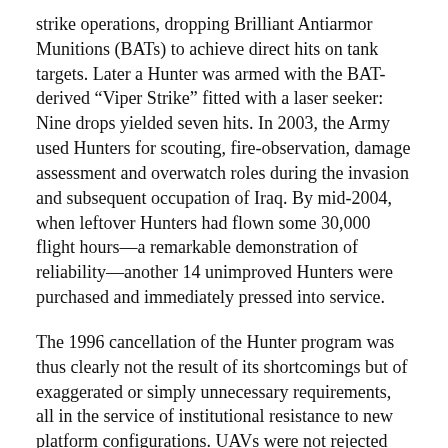strike operations, dropping Brilliant Antiarmor Munitions (BATs) to achieve direct hits on tank targets. Later a Hunter was armed with the BAT-derived “Viper Strike” fitted with a laser seeker: Nine drops yielded seven hits. In 2003, the Army used Hunters for scouting, fire-observation, damage assessment and overwatch roles during the invasion and subsequent occupation of Iraq. By mid-2004, when leftover Hunters had flown some 30,000 flight hours—a remarkable demonstration of reliability—another 14 unimproved Hunters were purchased and immediately pressed into service.
The 1996 cancellation of the Hunter program was thus clearly not the result of its shortcomings but of exaggerated or simply unnecessary requirements, all in the service of institutional resistance to new platform configurations. UAVs were not rejected outright but were instead disqualified through the imposition of requirements that were inappropriate for the new configuration—namely, reliability and versatility characteristics of manned aircraft. The bureaucratic kill mechanism worked like this: Adding redundancy for more reliability would increase costs, but something so